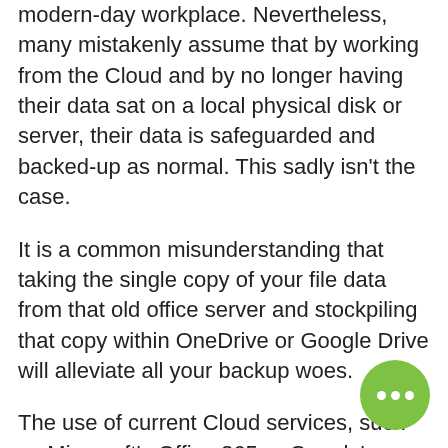modern-day workplace. Nevertheless, many mistakenly assume that by working from the Cloud and by no longer having their data sat on a local physical disk or server, their data is safeguarded and backed-up as normal. This sadly isn't the case.
It is a common misunderstanding that taking the single copy of your file data from that old office server and stockpiling that copy within OneDrive or Google Drive will alleviate all your backup woes.
The use of current Cloud services, such as Microsoft's Office 365 or Google's Apps environment, provide only a single storage location for your data and do not back up files as basic.